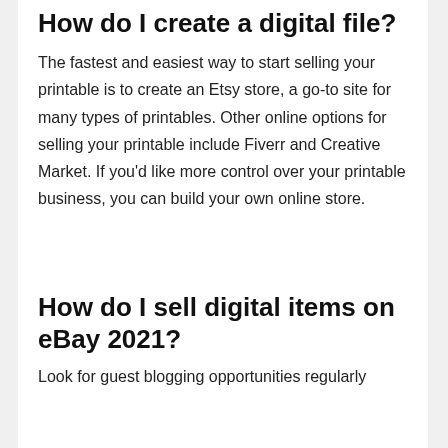How do I create a digital file?
The fastest and easiest way to start selling your printable is to create an Etsy store, a go-to site for many types of printables. Other online options for selling your printable include Fiverr and Creative Market. If you'd like more control over your printable business, you can build your own online store.
How do I sell digital items on eBay 2021?
Look for guest blogging opportunities regularly